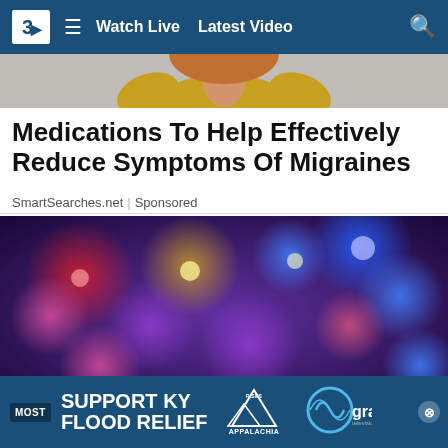3> Watch Live  Latest Video
[Figure (photo): Partial cropped photo showing a person in a yellow/gold top, from waist up, background is grey]
Medications To Help Effectively Reduce Symptoms Of Migraines
SmartSearches.net | Sponsored
[Figure (photo): Blurry bokeh-style night scene with red and blue police lights, crime scene tape reading CROSS in foreground]
MOST  SUPPORT KY FLOOD RELIEF  APPALACHIA RISES  gray